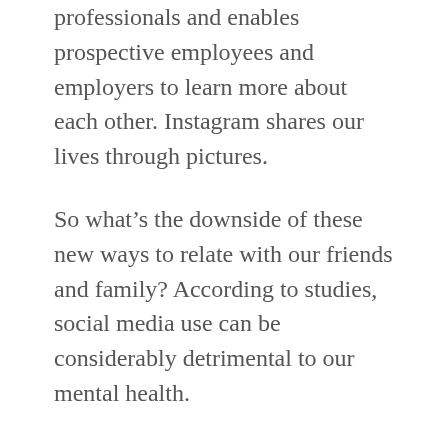professionals and enables prospective employees and employers to learn more about each other. Instagram shares our lives through pictures.
So what’s the downside of these new ways to relate with our friends and family? According to studies, social media use can be considerably detrimental to our mental health.
To understand why, it’s important to think about why we use social media in the first place. While the practicality of connecting with friends and family is the most obvious reason, psychologists have found that our need to “self-disclose” aspects of our lives stems from the same reward system in our brain